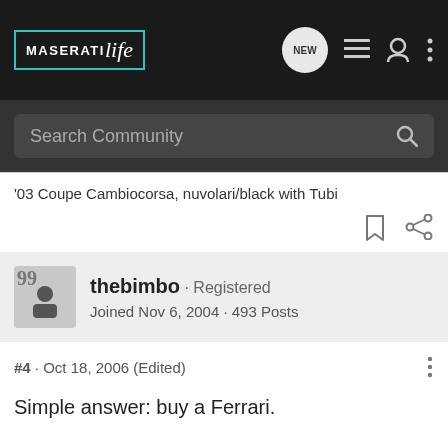MASERATIlife — Navigation bar with search
'03 Coupe Cambiocorsa, nuvolari/black with Tubi
thebimbo · Registered
Joined Nov 6, 2004 · 493 Posts
#4 · Oct 18, 2006 (Edited)
Simple answer: buy a Ferrari.